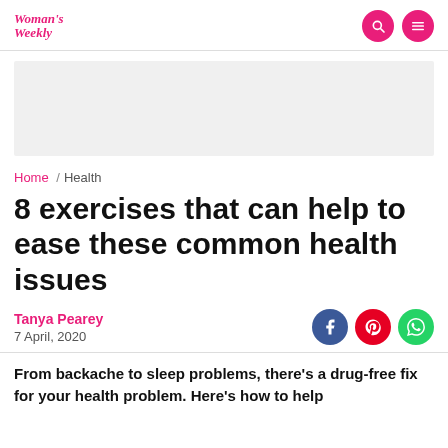Woman's Weekly
[Figure (other): Advertisement banner placeholder (grey rectangle)]
Home / Health
8 exercises that can help to ease these common health issues
Tanya Pearey
7 April, 2020
From backache to sleep problems, there's a drug-free fix for your health problem. Here's how to help